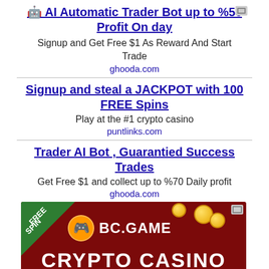🤖 AI Automatic Trader Bot up to %50 Profit On day
Signup and Get Free $1 As Reward And Start Trade
ghooda.com
Signup and steal a JACKPOT with 100 FREE Spins
Play at the #1 crypto casino
puntlinks.com
Trader AI Bot , Guarantied Success Trades
Get Free $1 and collect up to %70 Daily profit
ghooda.com
[Figure (photo): BC.GAME crypto casino banner ad with dark red background, FREE SPIN green corner ribbon, BC.GAME logo, gold coins, text reading CRYPTO CASINO 20+ TOKEN in white and green]